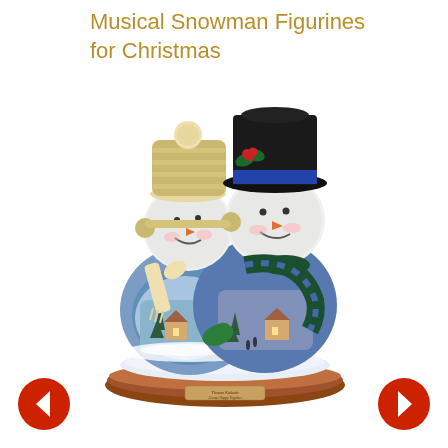Musical Snowman Figurines for Christmas
[Figure (photo): A decorative musical snowman couple figurine. Two snowmen are shown side by side: the left snowman wears a blue outfit, cream knit hat with pompom, cream scarf, and green mittens; the right snowman wears a black top hat with holly, blue outfit, and a dark green and blue striped scarf. Their bodies are decorated with a painted Thomas Kinkade-style winter village scene. They are sitting on a wooden oval base with a label that reads 'Thomas Kinkade Always Happy Together'. The figurine appears to be a collectible music box.]